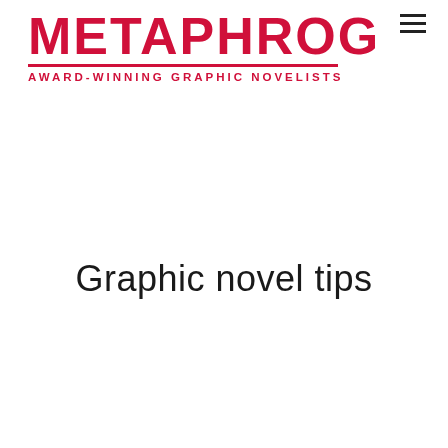METAPHROG — AWARD-WINNING GRAPHIC NOVELISTS
Graphic novel tips